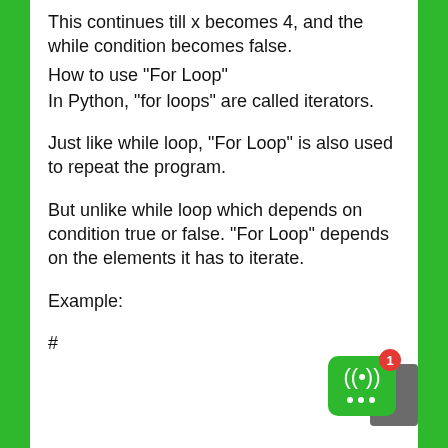This continues till x becomes 4, and the while condition becomes false.
How to use “For Loop”
In Python, “for loops” are called iterators.
Just like while loop, “For Loop” is also used to repeat the program.
But unlike while loop which depends on condition true or false. “For Loop” depends on the elements it has to iterate.
Example:
#